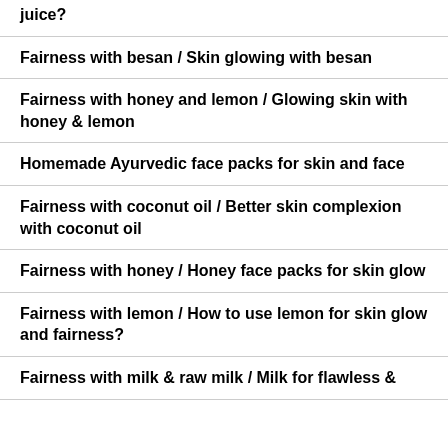juice?
Fairness with besan / Skin glowing with besan
Fairness with honey and lemon / Glowing skin with honey & lemon
Homemade Ayurvedic face packs for skin and face
Fairness with coconut oil / Better skin complexion with coconut oil
Fairness with honey / Honey face packs for skin glow
Fairness with lemon / How to use lemon for skin glow and fairness?
Fairness with milk & raw milk / Milk for flawless & glowing skin